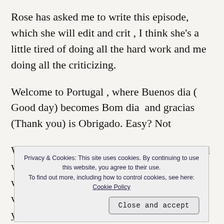Rose has asked me to write this episode, which she will edit and crit , I think she’s a little tired of doing all the hard work and me doing all the criticizing.
Welcome to Portugal , where Buenos dia ( Good day) becomes Bom dia  and gracias (Thank you) is Obrigado. Easy? Not
We .crossed this fairly wide fancy bridge and were
Privacy & Cookies: This site uses cookies. By continuing to use this website, you agree to their use. To find out more, including how to control cookies, see here: Cookie Policy
where a very helpful lady explains that because